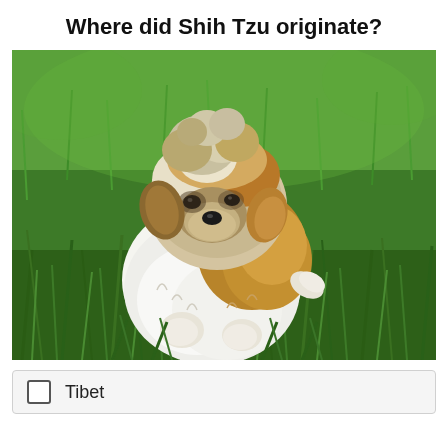Where did Shih Tzu originate?
[Figure (photo): A small Shih Tzu puppy with white and brown fur sitting on bright green grass, facing the camera.]
Tibet